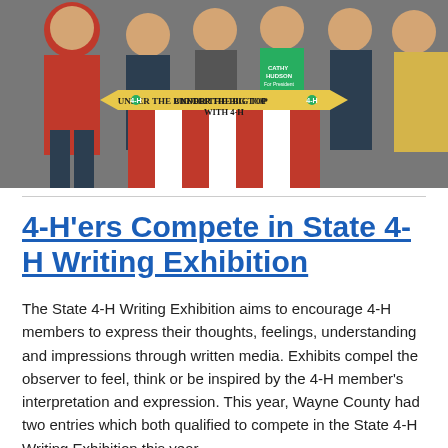[Figure (photo): Group photo of people standing behind a carnival-style display sign reading 'Under the Big Top with 4-H', decorated with red and white stripes and 4-H clovers. One person is wearing a green 'Cathy Hudson for President' shirt.]
4-H'ers Compete in State 4-H Writing Exhibition
The State 4-H Writing Exhibition aims to encourage 4-H members to express their thoughts, feelings, understanding and impressions through written media. Exhibits compel the observer to feel, think or be inspired by the 4-H member's interpretation and expression. This year, Wayne County had two entries which both qualified to compete in the State 4-H Writing Exhibition this year.